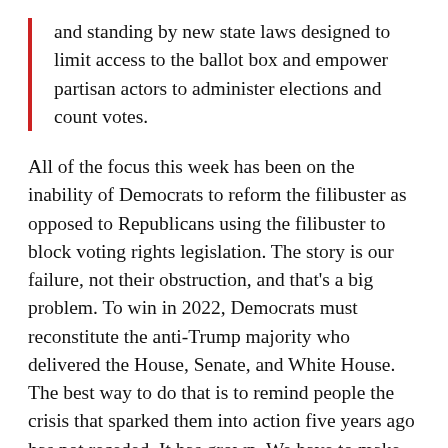and standing by new state laws designed to limit access to the ballot box and empower partisan actors to administer elections and count votes.
All of the focus this week has been on the inability of Democrats to reform the filibuster as opposed to Republicans using the filibuster to block voting rights legislation. The story is our failure, not their obstruction, and that's a big problem. To win in 2022, Democrats must reconstitute the anti-Trump majority who delivered the House, Senate, and White House. The best way to do that is to remind people the crisis that sparked them into action five years ago has not receded. It has grown. We have to make this election a choice between Democrats and MAGA Republicans. We can't do that if we keep the spotlight on the incalcitrant Senate Democrats.